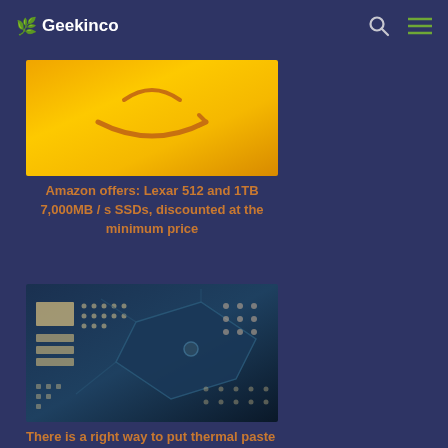🌿 Geekinco
[Figure (photo): Amazon logo on golden/orange background]
Amazon offers: Lexar 512 and 1TB 7,000MB / s SSDs, discounted at the minimum price
[Figure (photo): Close-up macro photo of a blue printed circuit board (PCB) with electronic components, solder pads, and traces]
There is a right way to put thermal paste on the GPU - here's what it is